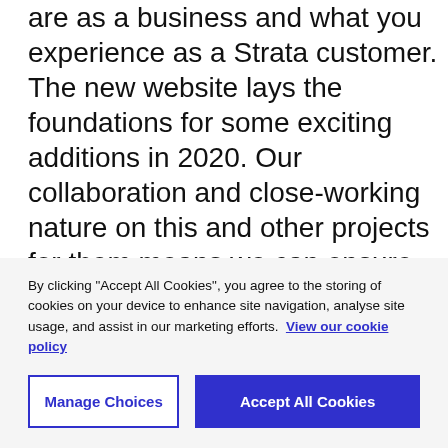are as a business and what you experience as a Strata customer. The new website lays the foundations for some exciting additions in 2020. Our collaboration and close-working nature on this and other projects for them means we can ensure they stay ahead of the curve and the competition in their sector for years to come."
[Figure (illustration): Dark navy/black teardrop or shield shape, partially visible at the right edge of the page]
The new site will...
By clicking "Accept All Cookies", you agree to the storing of cookies on your device to enhance site navigation, analyse site usage, and assist in our marketing efforts. View our cookie policy
Manage Choices
Accept All Cookies